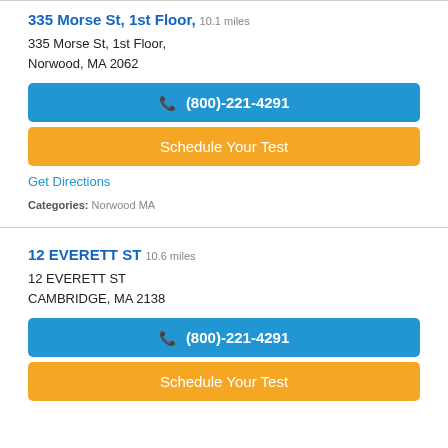335 Morse St, 1st Floor, 10.1 miles
335 Morse St, 1st Floor,
Norwood, MA 2062
(800)-221-4291
Schedule Your Test
Get Directions
Categories: Norwood MA
12 EVERETT ST 10.6 miles
12 EVERETT ST
CAMBRIDGE, MA 2138
(800)-221-4291
Schedule Your Test